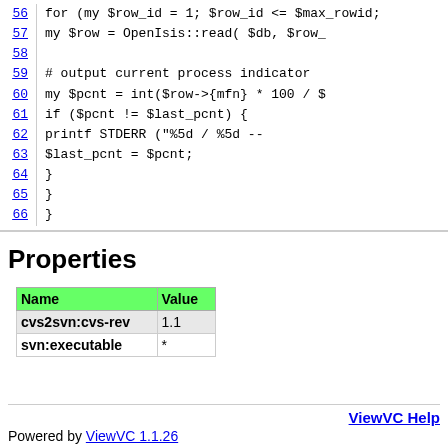56  for (my $row_id = 1; $row_id <= $max_rowid;
57      my $row = OpenIsis::read( $db, $row_
58
59      # output current process indicator
60      my $pcnt = int($row->{mfn} * 100 / $
61      if ($pcnt != $last_pcnt) {
62              printf STDERR ("%5d / %5d --
63              $last_pcnt = $pcnt;
64          }
65      }
66  }
Properties
| Name | Value |
| --- | --- |
| cvs2svn:cvs-rev | 1.1 |
| svn:executable | * |
ViewVC Help
Powered by ViewVC 1.1.26